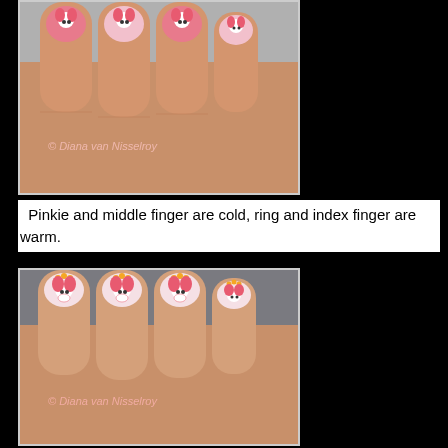[Figure (photo): Close-up photo of a hand showing four fingers with nail art featuring My Melody (Sanrio character) decorations. The pinkie and middle finger nails have cold-toned (lighter pink/white) backgrounds, while the ring and index finger nails have warm-toned (deeper pink) backgrounds. Each nail has a small My Melody character painted on it. Watermark reads '© Diana van Nisselroy'.]
Pinkie and middle finger are cold, ring and index finger are warm.
[Figure (photo): Close-up photo of a hand showing four fingers with nail art featuring My Melody (Sanrio character) decorations on a warm white/pink gradient background with yellow/orange floral accents near the tips. Each nail has a My Melody character in pink. Watermark reads '© Diana van Nisselroy'.]